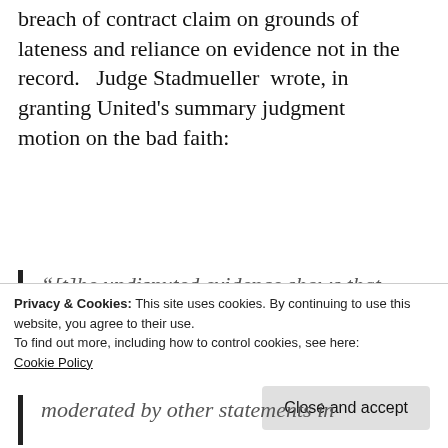breach of contract claim on grounds of lateness and reliance on evidence not in the record.  Judge Stadmueller  wrote, in granting United's summary judgment motion on the bad faith:
“[t]he undisputed evidence shows that Smith’s bad faith claim must fail...United was within its rights to review the policy given that Smith’s claim occurred within the
moderated by other statements in
Privacy & Cookies: This site uses cookies. By continuing to use this website, you agree to their use.
To find out more, including how to control cookies, see here:
Cookie Policy